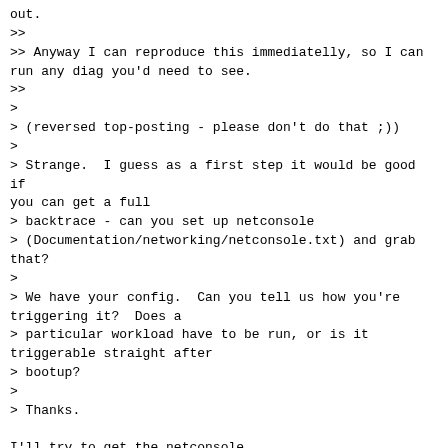out.
>>
>> Anyway I can reproduce this immediatelly, so I can run any diag you'd need to see.
>>
>
> (reversed top-posting - please don't do that ;))
>
> Strange.  I guess as a first step it would be good if you can get a full
> backtrace - can you set up netconsole
> (Documentation/networking/netconsole.txt) and grab that?
>
> We have your config.  Can you tell us how you're triggering it?  Does a
> particular workload have to be run, or is it triggerable straight after
> bootup?
>
> Thanks.

I'll try to get the netconsole..

The trigger is simple just type ipcs and press enter :)
I noticed that running from xterm freeze all the time.
It wont freeze up sometimes running directly from terminal.

I also tried to reproduce it in qemu but with no luck.